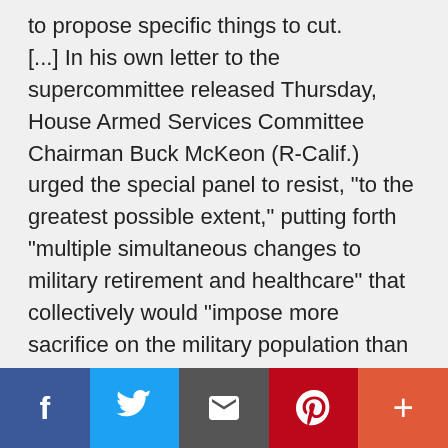to propose specific things to cut. [...] In his own letter to the supercommittee released Thursday, House Armed Services Committee Chairman Buck McKeon (R-Calif.) urged the special panel to resist, "to the greatest possible extent," putting forth "multiple simultaneous changes to military retirement and healthcare" that collectively would "impose more sacrifice on the military population than is being asked of any other American."
McKeon, as well as the ranking member of his panel, Rep. Adam Smith (D-Wash.), also urged the committee to spare the Pentagon
Social sharing bar with Facebook, Twitter, Email, Pinterest, and Plus buttons